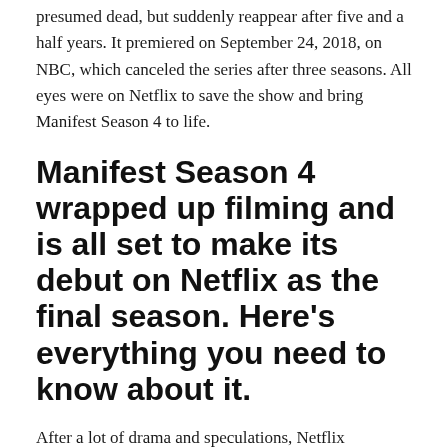presumed dead, but suddenly reappear after five and a half years. It premiered on September 24, 2018, on NBC, which canceled the series after three seasons. All eyes were on Netflix to save the show and bring Manifest Season 4 to life.
Manifest Season 4 wrapped up filming and is all set to make its debut on Netflix as the final season. Here's everything you need to know about it.
After a lot of drama and speculations, Netflix somehow managed to renew Manifest for the fourth season on August 28, 2021. The streaming giant took over the series from NBC after it garnered big numbers when it was released in the US and Canada. Hulu and Peacock also lost the show in late